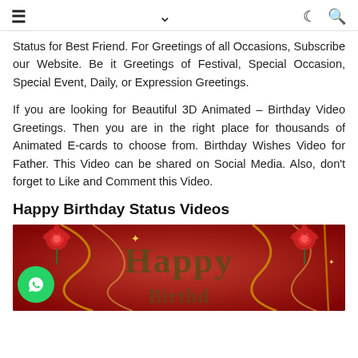≡   ∨   ☾ 🔍
Status for Best Friend. For Greetings of all Occasions, Subscribe our Website. Be it Greetings of Festival, Special Occasion, Special Event, Daily, or Expression Greetings.
If you are looking for Beautiful 3D Animated – Birthday Video Greetings. Then you are in the right place for thousands of Animated E-cards to choose from. Birthday Wishes Video for Father. This Video can be shared on Social Media. Also, don't forget to Like and Comment this Video.
Happy Birthday Status Videos
[Figure (photo): A red-background birthday video thumbnail with 'Happy' text in dark brown/olive large font, rose decorations in corners, golden ribbon/streamer decorations, sparkle effects, and a green WhatsApp icon badge in the bottom-left corner.]